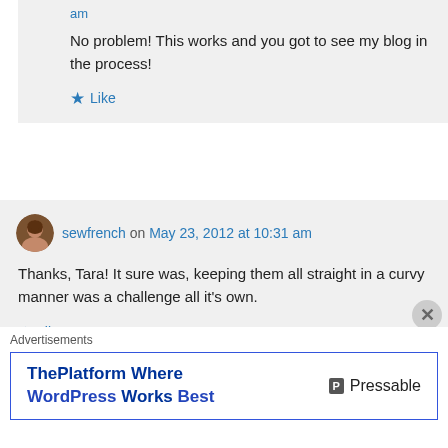am
No problem! This works and you got to see my blog in the process!
Like
sewfrench on May 23, 2012 at 10:31 am
Thanks, Tara! It sure was, keeping them all straight in a curvy manner was a challenge all it's own.
Like
Advertisements
ThePlatform Where WordPress Works Best
Pressable